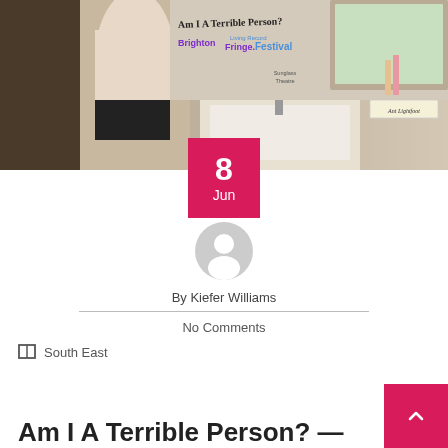[Figure (photo): Person standing at bathroom sink with mirror showing text 'Am I A Terrible Person?', 'Brighton Fringe', 'Living Record Festival', 'Sunglass Theatre', and a handwritten note 'Ant Lightfoot']
8
Jun
[Figure (illustration): Generic user avatar circle icon in grey]
By Kiefer Williams
No Comments
South East
Am I A Terrible Person? —